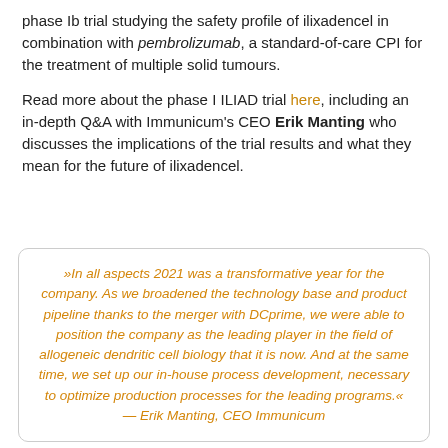phase Ib trial studying the safety profile of ilixadencel in combination with pembrolizumab, a standard-of-care CPI for the treatment of multiple solid tumours.
Read more about the phase I ILIAD trial here, including an in-depth Q&A with Immunicum's CEO Erik Manting who discusses the implications of the trial results and what they mean for the future of ilixadencel.
»In all aspects 2021 was a transformative year for the company. As we broadened the technology base and product pipeline thanks to the merger with DCprime, we were able to position the company as the leading player in the field of allogeneic dendritic cell biology that it is now. And at the same time, we set up our in-house process development, necessary to optimize production processes for the leading programs.« — Erik Manting, CEO Immunicum